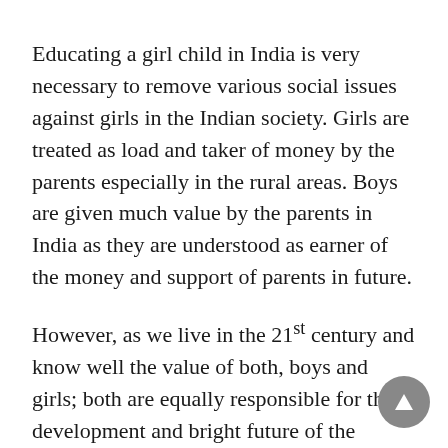Educating a girl child in India is very necessary to remove various social issues against girls in the Indian society. Girls are treated as load and taker of money by the parents especially in the rural areas. Boys are given much value by the parents in India as they are understood as earner of the money and support of parents in future.
However, as we live in the 21st century and know well the value of both, boys and girls; both are equally responsible for the development and bright future of the country. So, it is an urgent need to save and educate a girl child in India if we really want to be the citizen of a developed country.